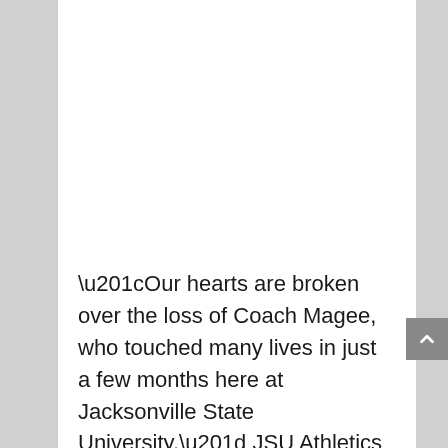“Our hearts are broken over the loss of Coach Magee, who touched many lives in just a few months here at Jacksonville State University,” JSU Athletics Director Greg Seitz said. “Our thoughts and prayers are with his wife Rose and his